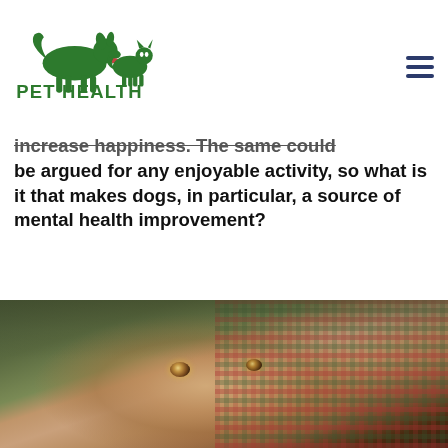[Figure (logo): Pet Health logo with green silhouettes of a dog and cat above bold green text reading PET HEALTH]
increase happiness. The same could be argued for any enjoyable activity, so what is it that makes dogs, in particular, a source of mental health improvement?
[Figure (photo): Close-up photo of a small dog with large eyes looking at the camera, with a plaid blanket in the background]